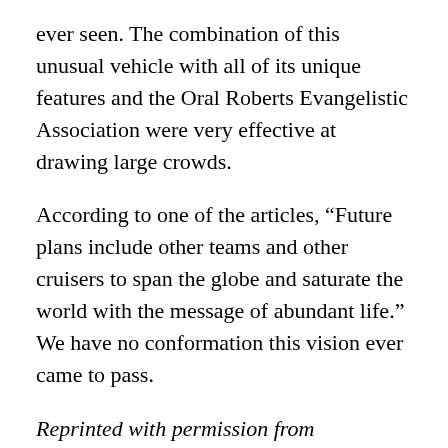ever seen. The combination of this unusual vehicle with all of its unique features and the Oral Roberts Evangelistic Association were very effective at drawing large crowds.
According to one of the articles, “Future plans include other teams and other cruisers to span the globe and saturate the world with the message of abundant life.” We have no conformation this vision ever came to pass.
Reprinted with permission from www.furturliner.com. Published in This Land, Vol. 5, Issue 18, September 15, 2014.